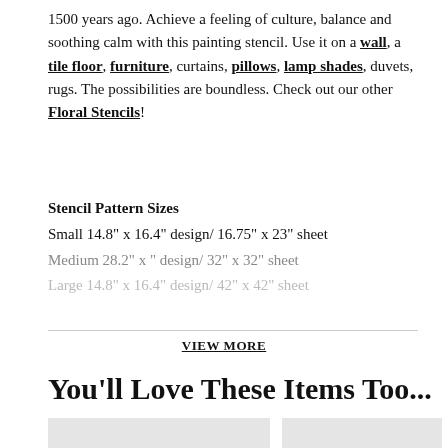1500 years ago. Achieve a feeling of culture, balance and soothing calm with this painting stencil. Use it on a wall, a tile floor, furniture, curtains, pillows, lamp shades, duvets, rugs. The possibilities are boundless. Check out our other Floral Stencils!
Stencil Pattern Sizes
Small 14.8" x 16.4" design/ 16.75" x 23" sheet
Medium 28.2" x " design/ 32" x 32" sheet
Large 14.8" x 16.4" design/ 42" x 42" sheet
VIEW MORE
You'll Love These Items Too...
[Figure (photo): Product image showing a botanical/leaf stencil design]
[Figure (photo): Product image showing a geometric tile pattern stencil]